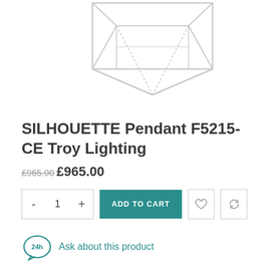[Figure (photo): Product photo of SILHOUETTE Pendant light F5215-CE by Troy Lighting — a geometric wire-frame cube/diamond shaped pendant lamp in white/cream finish, shown hanging from above, cropped at the top.]
SILHOUETTE Pendant F5215-CE Troy Lighting
£965.00 £965.00
- 1 + ADD TO CART
Ask about this product